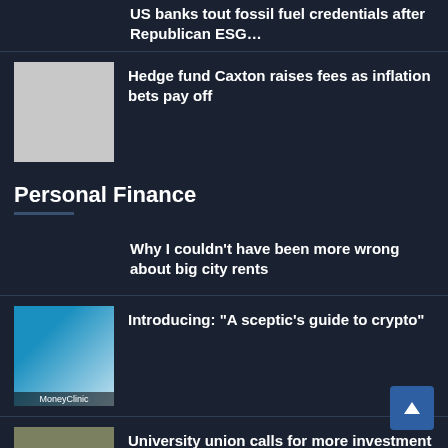US banks tout fossil fuel credentials after Republican ESG…
[Figure (photo): Thumbnail image placeholder (gray)]
Hedge fund Caxton raises fees as inflation bets pay off
Personal Finance
Why I couldn't have been more wrong about big city rents
[Figure (photo): FT Money Clinic podcast thumbnail with presenter]
Introducing: “A sceptic’s guide to crypto”
[Figure (photo): University building exterior thumbnail]
University union calls for more investment in after